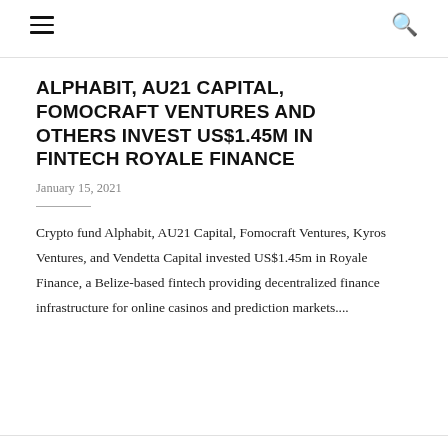ALPHABIT, AU21 CAPITAL, FOMOCRAFT VENTURES AND OTHERS INVEST US$1.45M IN FINTECH ROYALE FINANCE
January 15, 2021
Crypto fund Alphabit, AU21 Capital, Fomocraft Ventures, Kyros Ventures, and Vendetta Capital invested US$1.45m in Royale Finance, a Belize-based fintech providing decentralized finance infrastructure for online casinos and prediction markets....